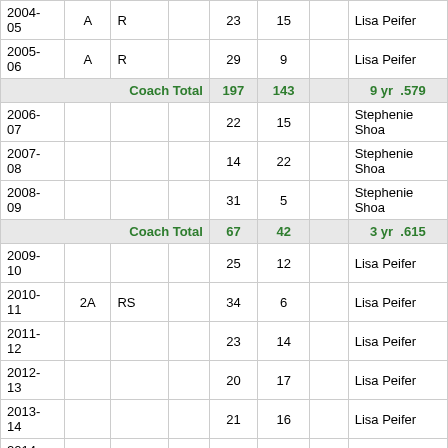| Year | Class | Conf | Place | W | L |  | Coach |
| --- | --- | --- | --- | --- | --- | --- | --- |
| 2004-05 | A | R |  | 23 | 15 |  | Lisa Peifer |
| 2005-06 | A | R |  | 29 | 9 |  | Lisa Peifer |
| Coach Total |  |  |  | 197 | 143 |  | 9 yr  .579 |
| 2006-07 |  |  |  | 22 | 15 |  | Stephenie Shoa... |
| 2007-08 |  |  |  | 14 | 22 |  | Stephenie Shoa... |
| 2008-09 |  |  |  | 31 | 5 |  | Stephenie Shoa... |
| Coach Total |  |  |  | 67 | 42 |  | 3 yr  .615 |
| 2009-10 |  |  |  | 25 | 12 |  | Lisa Peifer |
| 2010-11 | 2A | RS |  | 34 | 6 |  | Lisa Peifer |
| 2011-12 |  |  |  | 23 | 14 |  | Lisa Peifer |
| 2012-13 |  |  |  | 20 | 17 |  | Lisa Peifer |
| 2013-14 |  |  |  | 21 | 16 |  | Lisa Peifer |
| 2014-15 |  |  |  | 30 | 7 |  | Lisa Peifer |
| 2015-16 | 2A | RSUQ | 4 | 37 | 5 |  | Lisa Peifer |
| 2016-17 | 2A | R |  | 29 | 10 |  | Lisa Peifer |